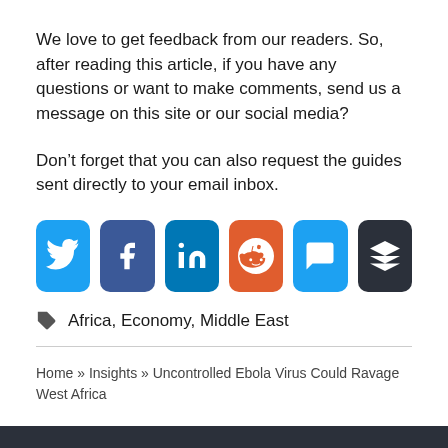We love to get feedback from our readers. So, after reading this article, if you have any questions or want to make comments, send us a message on this site or our social media?
Don't forget that you can also request the guides sent directly to your email inbox.
[Figure (other): Social media share buttons: Twitter (blue), Facebook (dark blue), LinkedIn (blue), Reddit (orange), Message/chat (blue), Buffer (dark grey)]
Africa, Economy, Middle East
Home » Insights » Uncontrolled Ebola Virus Could Ravage West Africa